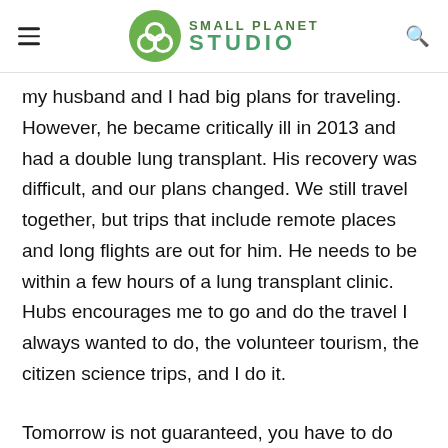SMALL PLANET STUDIO
my husband and I had big plans for traveling. However, he became critically ill in 2013 and had a double lung transplant. His recovery was difficult, and our plans changed. We still travel together, but trips that include remote places and long flights are out for him. He needs to be within a few hours of a lung transplant clinic. Hubs encourages me to go and do the travel I always wanted to do, the volunteer tourism, the citizen science trips, and I do it.
Tomorrow is not guaranteed, you have to do what